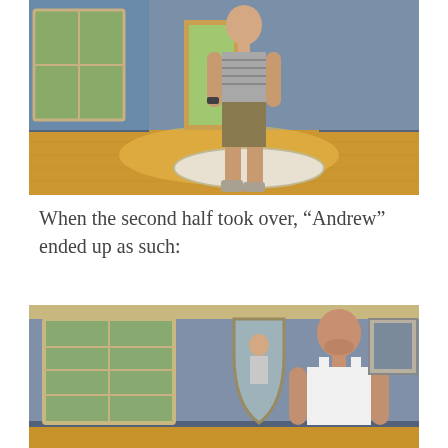[Figure (screenshot): Screenshot from The Sims 3 video game showing a male character in a tank top and khaki shorts standing on a circular rug in a blue-walled room with wood floors, a window, a potted plant, and a framed picture on the wall.]
When the second half took over, “Andrew” ended up as such:
[Figure (screenshot): Screenshot from The Sims 3 video game showing a male character in a white tank top standing in a blue-walled room with a window, an arched mirror, and a framed picture on the wall.]